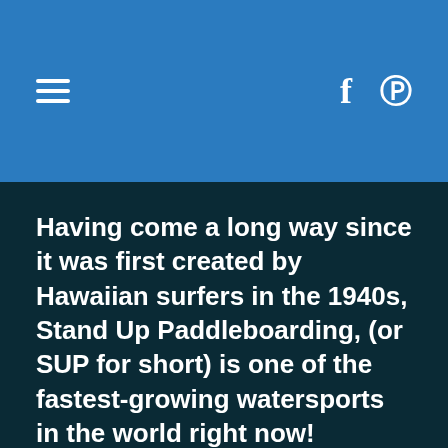≡  f  ℗
Having come a long way since it was first created by Hawaiian surfers in the 1940s, Stand Up Paddleboarding, (or SUP for short) is one of the fastest-growing watersports in the world right now!
The sport has exploded in recent years, evolving into several very